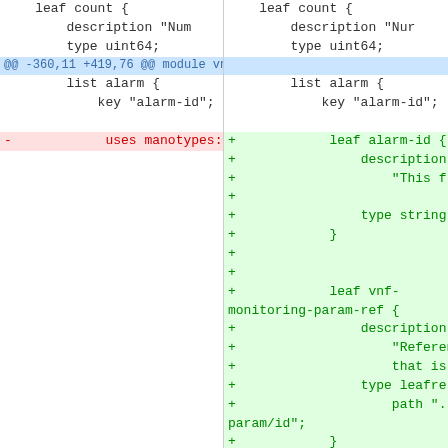[Figure (screenshot): A diff view showing two columns of code changes. Left column shows old code, right column shows new code. The diff is for a YANG module file (vnfd-base). The hunk header reads '@@ -360,11 +419,76 @@ module vnfd-base'. The left side shows unchanged code for 'leaf count' with description and type uint64, then 'list alarm' with key 'alarm-id', and a removed line 'uses manotypes:a'. The right side shows the same context code, and many added lines including 'leaf alarm-id', description, type string, 'leaf vnf-monitoring-param-ref', description, type leafref, and path.]